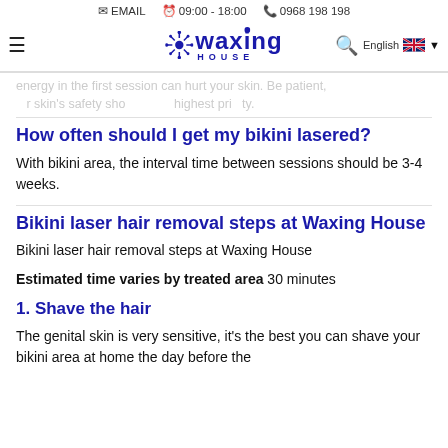EMAIL  09:00 - 18:00  0968 198 198
energy in the first session can hurt your skin. Be patient, your skin's safety should be the highest priority.
How often should I get my bikini lasered?
With bikini area, the interval time between sessions should be 3-4 weeks.
Bikini laser hair removal steps at Waxing House
Bikini laser hair removal steps at Waxing House
Estimated time varies by treated area 30 minutes
1. Shave the hair
The genital skin is very sensitive, it's the best you can shave your bikini area at home the day before the